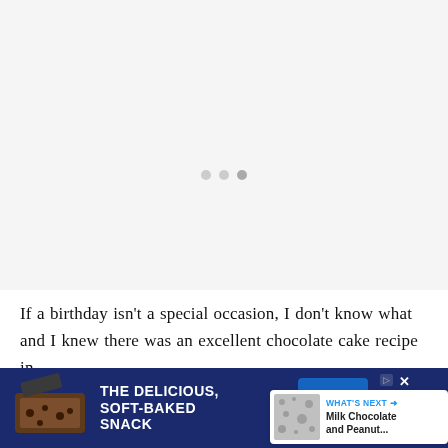[Figure (other): Light gray empty area with three small gray loading dots in the center, indicating a loading/placeholder image region]
If a birthday isn't a special occasion, I don't know what and I knew there was an excellent chocolate cake recipe in the book. I had given my sister a copy of the b had ear-marked it as well. The decision was ma
[Figure (other): Heart/like button (blue circle with white heart icon), like count 49, and share button (white circle with blue share icon)]
[Figure (other): What's Next panel showing thumbnail image and text 'Milk Chocolate and Peanut...' with blue arrow label 'WHAT'S NEXT →']
A according, I think this is from an experienced by recipes. A b one DI
[Figure (other): Advertisement banner: 'THE DELICIOUS, SOFT-BAKED SNACK' with CLIF KID ZBAR chocolate bar product image on blue background]